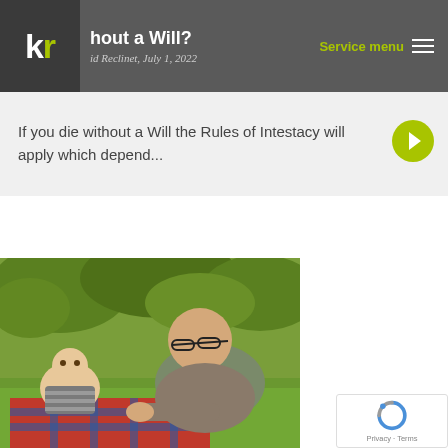kr | hout a Will? | Service menu
hout a Will?
id Reclinet, July 1, 2022
If you die without a Will the Rules of Intestacy will apply which depend...
[Figure (photo): An elderly man with glasses leaning over a baby lying on a red and blue plaid blanket on green grass, smiling at each other outdoors.]